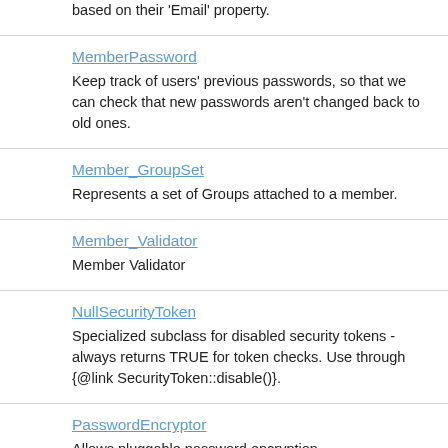based on their 'Email' property.
MemberPassword
Keep track of users' previous passwords, so that we can check that new passwords aren't changed back to old ones.
Member_GroupSet
Represents a set of Groups attached to a member.
Member_Validator
Member Validator
NullSecurityToken
Specialized subclass for disabled security tokens - always returns TRUE for token checks. Use through {@link SecurityToken::disable()}.
PasswordEncryptor
Allows pluggable password encryption.